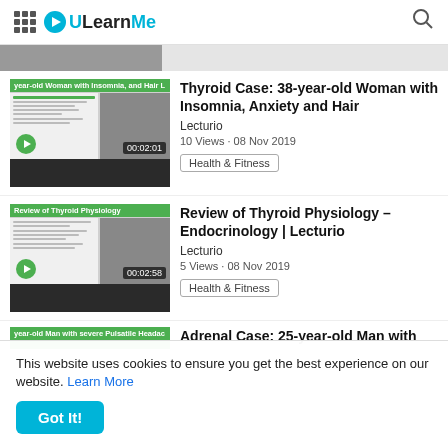ULearnMe
[Figure (screenshot): Thumbnail for Thyroid Case video showing lecture slide and speaker]
Thyroid Case: 38-year-old Woman with Insomnia, Anxiety and Hair
Lecturio
10 Views · 08 Nov 2019
Health & Fitness
[Figure (screenshot): Thumbnail for Review of Thyroid Physiology video showing lecture slide and speaker]
Review of Thyroid Physiology – Endocrinology | Lecturio
Lecturio
5 Views · 08 Nov 2019
Health & Fitness
Adrenal Case: 25-year-old Man with
This website uses cookies to ensure you get the best experience on our website. Learn More
Got It!